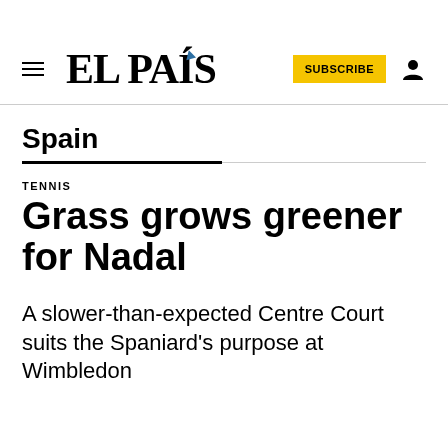EL PAÍS
Spain
TENNIS
Grass grows greener for Nadal
A slower-than-expected Centre Court suits the Spaniard's purpose at Wimbledon